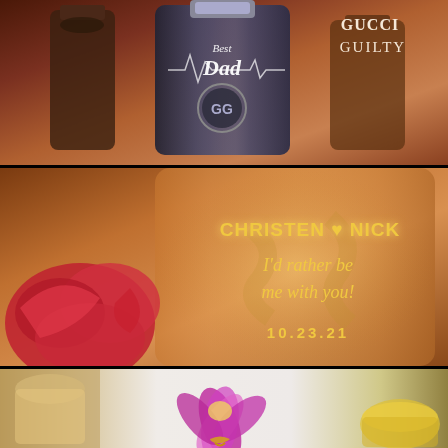[Figure (photo): Gucci Guilty perfume bottle with cursive 'Best Dad' written on it, set against warm brown/amber background with other perfume bottles. Gucci Guilty text visible at top right.]
[Figure (photo): Amber-colored bottle with gold engraved text reading 'CHRISTEN NICK' with a heart, 'I'd rather be me with you!' and date '10.23.21'. A red rose is visible in the lower left.]
[Figure (photo): Partial view of a floral illustration with purple/magenta petals and gold decorative elements on a light background, with what appears to be a drink or bowl on the right.]